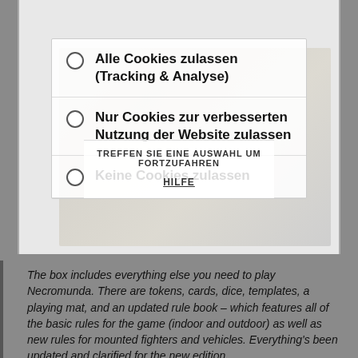Informationen zu den Auswirkungen Ihrer Auswahl finden Sie unter Hilfe.
Alle Cookies zulassen (Tracking & Analyse)
Nur Cookies zur verbesserten Nutzung der Website zulassen
Keine Cookies zulassen
TREFFEN SIE EINE AUSWAHL UM FORTZUFAHREN
HILFE
The box includes everything else you need to play Necromunda. There are tokens, cards, dice, templates, a playing mat, and an updated rule book – which features all of the basic rules for the game (indoor and outdoor) as well as new rules for mounted fighters and vehicles. Everything's been updated and clarified for the new edition.